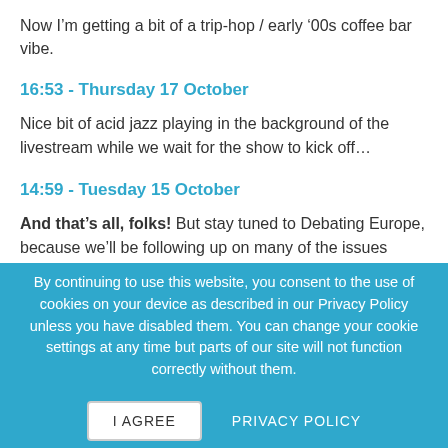Now I’m getting a bit of a trip-hop / early ’00s coffee bar vibe.
16:53 - Thursday 17 October
Nice bit of acid jazz playing in the background of the livestream while we wait for the show to kick off…
14:59 - Tuesday 15 October
And that’s all, folks! But stay tuned to Debating Europe, because we’ll be following up on many of the issues raised today in greater detail over the coming days.
14:50 - Tuesday 15 October
By continuing to use this website, you consent to the use of cookies on your device as described in our Privacy Policy unless you have disabled them. You can change your cookie settings at any time but parts of our site will not function correctly without them.